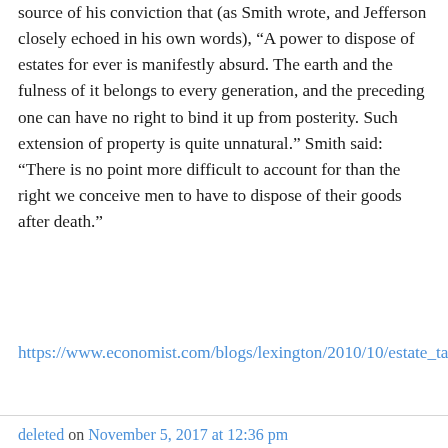source of his conviction that (as Smith wrote, and Jefferson closely echoed in his own words), “A power to dispose of estates for ever is manifestly absurd. The earth and the fulness of it belongs to every generation, and the preceding one can have no right to bind it up from posterity. Such extension of property is quite unnatural.” Smith said: “There is no point more difficult to account for than the right we conceive men to have to dispose of their goods after death.”
https://www.economist.com/blogs/lexington/2010/10/estate_tax_and_founding_fathers
deleted on November 5, 2017 at 12:36 pm
“The conservative position is that...